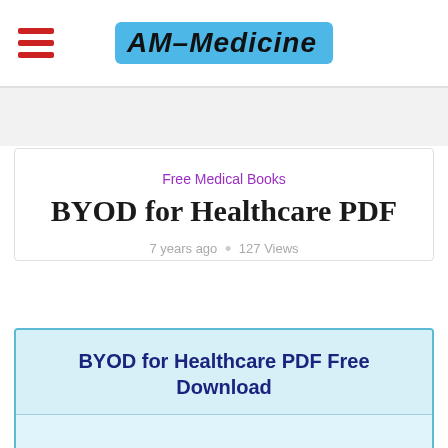AM-Medicine
Free Medical Books
BYOD for Healthcare PDF
7 years ago • 127 Views
BYOD for Healthcare PDF Free Download